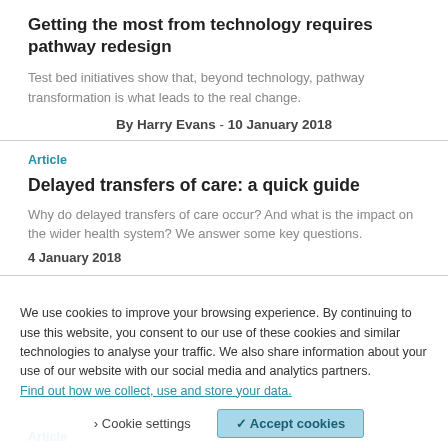Getting the most from technology requires pathway redesign
Test bed initiatives show that, beyond technology, pathway transformation is what leads to the real change.
By Harry Evans - 10 January 2018
Article
Delayed transfers of care: a quick guide
Why do delayed transfers of care occur? And what is the impact on the wider health system? We answer some key questions.
4 January 2018
We use cookies to improve your experience on this website. By continuing to use this website, you consent to our use of these cookies and similar technologies to analyse your traffic. We also share information about your use of our website with our social media and analytics partners. Find out how we collect, use and store your data.
Cookie settings   ✓ Accept cookies
Article